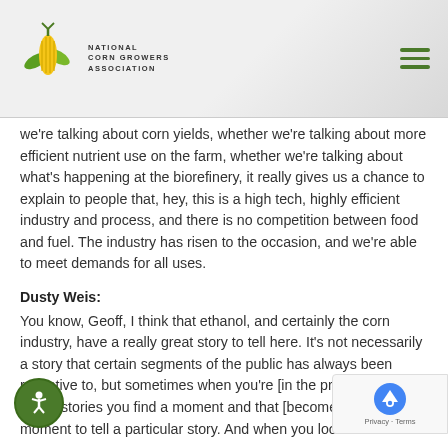National Corn Growers Association
we're talking about corn yields, whether we're talking about more efficient nutrient use on the farm, whether we're talking about what's happening at the biorefinery, it really gives us a chance to explain to people that, hey, this is a high tech, highly efficient industry and process, and there is no competition between food and fuel. The industry has risen to the occasion, and we're able to meet demands for all uses.
Dusty Weis:
You know, Geoff, I think that ethanol, and certainly the corn industry, have a really great story to tell here. It's not necessarily a story that certain segments of the public has always been receptive to, but sometimes when you're [in the process] of telling stories you find a moment and that [becomes a] great moment to tell a particular story. And when you look at